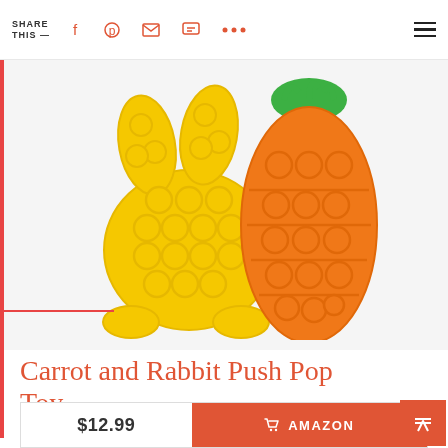SHARE THIS —
[Figure (photo): Two silicone push-pop bubble fidget toys: a yellow rabbit shape and an orange carrot shape with green top, on a light grey background.]
Carrot and Rabbit Push Pop Toy
$12.99  AMAZON